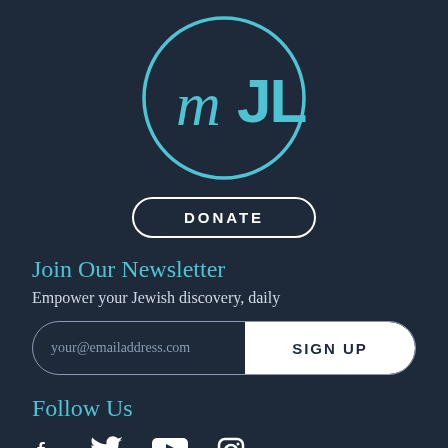[Figure (logo): mJL logo: stylized lowercase 'm' and uppercase 'JL' in light blue inside a light blue circle outline, on dark navy background]
[Figure (other): DONATE button: white rounded rectangle outline with white uppercase 'DONATE' text]
Join Our Newsletter
Empower your Jewish discovery, daily
[Figure (other): Email signup form: input field with placeholder 'your@emailaddress.com' and white 'SIGN UP' button]
Follow Us
[Figure (other): Social media icons: Facebook, Twitter, YouTube, Instagram in white]